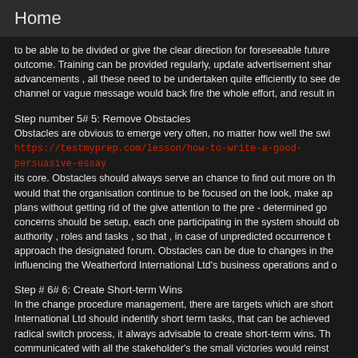Home
to be able to be divided or give the clear direction for foreseeable future outcome. Training can be provided regularly, update advertisement share advancements , all these need to be undertaken quite efficiently to see de channel or vague message would back fire the whole effort, and result in
Step number 5# 5: Remove Obstacles
Obstacles are obvious to emerge very often, no matter how well the swi https://testmyprep.com/lesson/how-to-write-a-good-persuasive-essay its core. Obstacles should always serve an chance to find out more on th would that the organisation continue to be focused on the look, make ap plans without getting rid of the give attention to the pre - determined go concerns should be setup, each one participating in the system should ob authority , roles and tasks , so that , in case of unpredicted occurrence t approach the designated forum. Obstacles can be due to changes in the influencing the Weatherford International Ltd's business operations and o
Step # 6# 6: Create Short-term Wins
In the change procedure management, there are targets which are short International Ltd should indentify short term tasks, that can be achieved radical switch process, it always advisable to create short-term wins. Th communicated with all the stakeholder's the small victories would reinst modification system and encourage them in participating actively. This s framework for to pay and reward the participants who have actively g